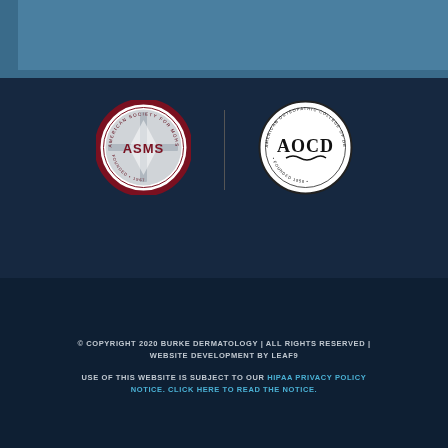[Figure (logo): ASMS - American Society for Mohs Surgery logo, circular badge with dark red border and FOUNDED 1967 text]
[Figure (logo): AOCD - American Osteopathic College of Dermatology logo, circular badge with black border and FOUNDED 1958 text]
© COPYRIGHT 2020 BURKE DERMATOLOGY | ALL RIGHTS RESERVED | WEBSITE DEVELOPMENT BY LEAF9
USE OF THIS WEBSITE IS SUBJECT TO OUR HIPAA PRIVACY POLICY NOTICE. CLICK HERE TO READ THE NOTICE.